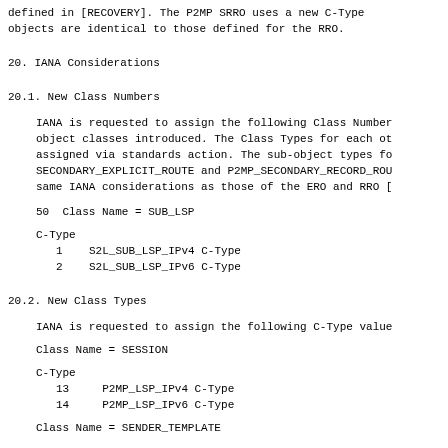defined in [RECOVERY]. The P2MP SRRO uses a new C-Type objects are identical to those defined for the RRO.
20. IANA Considerations
20.1. New Class Numbers
IANA is requested to assign the following Class Numbers object classes introduced. The Class Types for each of assigned via standards action. The sub-object types fo SECONDARY_EXPLICIT_ROUTE and P2MP_SECONDARY_RECORD_ROU same IANA considerations as those of the ERO and RRO
50  Class Name = SUB_LSP
C-Type
    1    S2L_SUB_LSP_IPv4 C-Type
    2    S2L_SUB_LSP_IPv6 C-Type
20.2. New Class Types
IANA is requested to assign the following C-Type values
Class Name = SESSION
C-Type
    13    P2MP_LSP_IPv4 C-Type
    14    P2MP_LSP_IPv6 C-Type
Class Name = SENDER_TEMPLATE